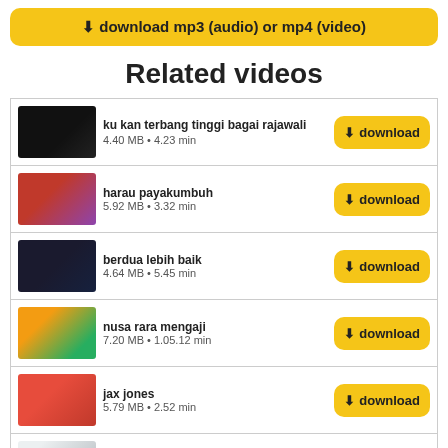⬇ download mp3 (audio) or mp4 (video)
Related videos
ku kan terbang tinggi bagai rajawali
4.40 MB • 4.23 min
harau payakumbuh
5.92 MB • 3.32 min
berdua lebih baik
4.64 MB • 5.45 min
nusa rara mengaji
7.20 MB • 1.05.12 min
jax jones
5.79 MB • 2.52 min
bts magic shop
3.21 MB • nono min